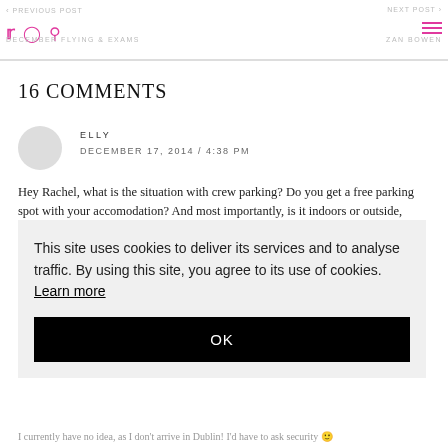< PREVIOUS POST | DECEMBER FLYING & EXAMS | NEXT POST > | ZAN BOWEN
16 COMMENTS
ELLY
DECEMBER 17, 2014 / 4:38 PM
Hey Rachel, what is the situation with crew parking? Do you get a free parking spot with your accomodation? And most importantly, is it indoors or outside,
This site uses cookies to deliver its services and to analyse traffic. By using this site, you agree to its use of cookies. Learn more
OK
I currently have no idea, as I don't arrive in Dublin! I'd have to ask security 🙂